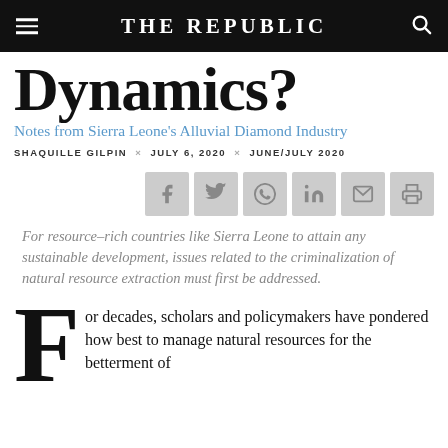THE REPUBLIC
Dynamics?
Notes from Sierra Leone’s Alluvial Diamond Industry
SHAQUILLE GILPIN × JULY 6, 2020 × JUNE/JULY 2020
[Figure (infographic): Social sharing buttons: Facebook, Twitter, WhatsApp, LinkedIn, Email, Print]
For resource–rich countries like Sierra Leone to attain any sustainable development, issues related to the criminalization of natural resource extraction must first be addressed.
For decades, scholars and policymakers have pondered how best to manage natural resources for the betterment of